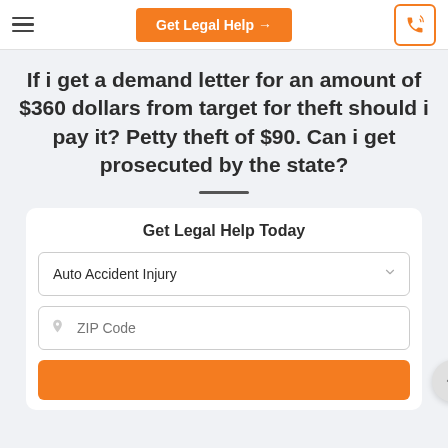Get Legal Help →
If i get a demand letter for an amount of $360 dollars from target for theft should i pay it? Petty theft of $90. Can i get prosecuted by the state?
Get Legal Help Today
Auto Accident Injury
ZIP Code